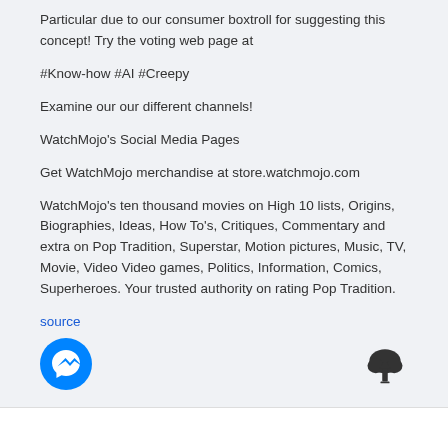Particular due to our consumer boxtroll for suggesting this concept! Try the voting web page at
#Know-how #AI #Creepy
Examine our our different channels!
WatchMojo's Social Media Pages
Get WatchMojo merchandise at store.watchmojo.com
WatchMojo's ten thousand movies on High 10 lists, Origins, Biographies, Ideas, How To's, Critiques, Commentary and extra on Pop Tradition, Superstar, Motion pictures, Music, TV, Movie, Video Video games, Politics, Information, Comics, Superheroes. Your trusted authority on rating Pop Tradition.
source
[Figure (logo): Facebook Messenger blue circle icon]
[Figure (illustration): Cloud upload icon (dark cloud with upward arrow)]